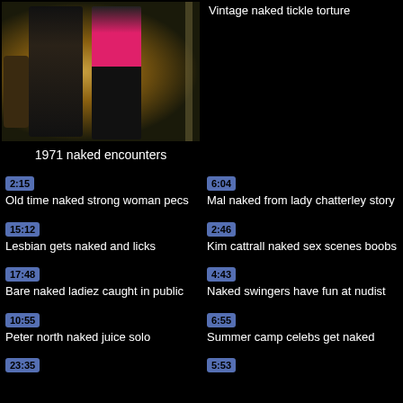[Figure (photo): Thumbnail image of two people in a room]
1971 naked encounters
Vintage naked tickle torture
2:15
Old time naked strong woman pecs
6:04
Mal naked from lady chatterley story
15:12
Lesbian gets naked and licks
2:46
Kim cattrall naked sex scenes boobs
17:48
Bare naked ladiez caught in public
4:43
Naked swingers have fun at nudist
10:55
Peter north naked juice solo
6:55
Summer camp celebs get naked
23:35
5:53